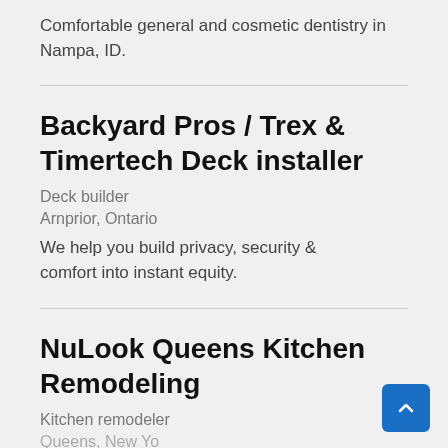Comfortable general and cosmetic dentistry in Nampa, ID.
Backyard Pros / Trex & Timertech Deck installer
Deck builder
Arnprior, Ontario
We help you build privacy, security & comfort into instant equity.
NuLook Queens Kitchen Remodeling
Kitchen remodeler
Queens, New York